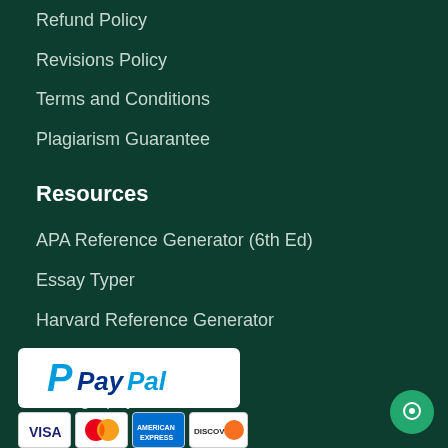Refund Policy
Revisions Policy
Terms and Conditions
Plagiarism Guarantee
Resources
APA Reference Generator (6th Ed)
Essay Typer
Harvard Reference Generator
MLA
Bibliography Generator
[Figure (logo): PayPal logo in white rounded rectangle box]
[Figure (logo): Payment card logos: VISA, Mastercard, American Express, Discover]